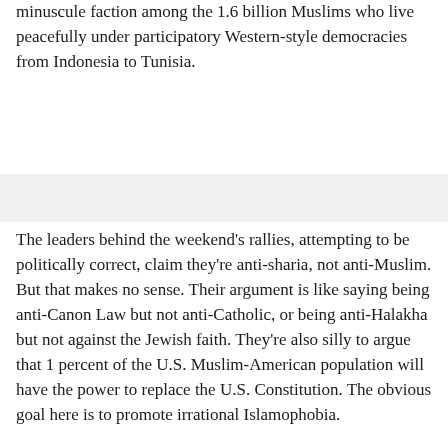minuscule faction among the 1.6 billion Muslims who live peacefully under participatory Western-style democracies from Indonesia to Tunisia.
The leaders behind the weekend's rallies, attempting to be politically correct, claim they're anti-sharia, not anti-Muslim. But that makes no sense. Their argument is like saying being anti-Canon Law but not anti-Catholic, or being anti-Halakha but not against the Jewish faith. They're also silly to argue that 1 percent of the U.S. Muslim-American population will have the power to replace the U.S. Constitution. The obvious goal here is to promote irrational Islamophobia.
MORE | As a Muslim Republican, I see my party missing opportunities
According to news reports, a few dozen protesters in cities from New York to Seattle, some clad in camouflaged fatigues, others belonging to anti-government movements,